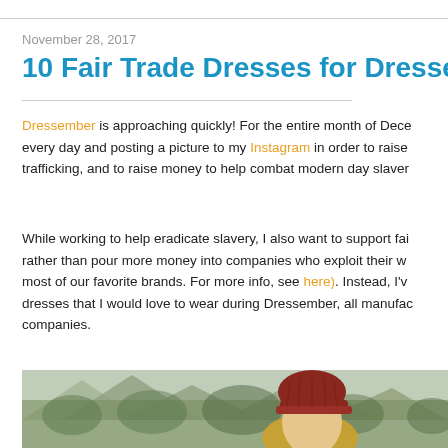November 28, 2017
10 Fair Trade Dresses for Dressember
Dressember is approaching quickly! For the entire month of December, I'll be wearing a dress every day and posting a picture to my Instagram in order to raise awareness about human trafficking, and to raise money to help combat modern day slavery.
While working to help eradicate slavery, I also want to support fair trade companies rather than pour more money into companies who exploit their workers, which is sadly most of our favorite brands. For more info, see here). Instead, I've put together 10 dresses that I would love to wear during Dressember, all manufactured by ethical companies.
[Figure (photo): Woman wearing a red knit beanie hat with long blonde hair, standing outdoors with blurred trees and mountains in the background.]